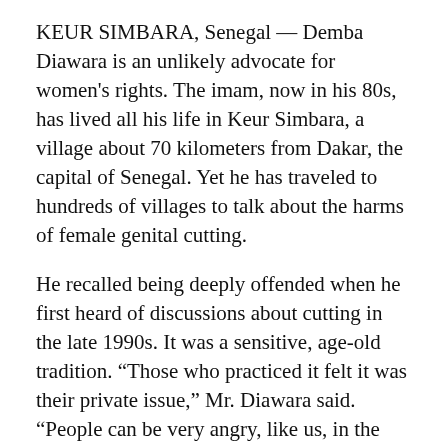KEUR SIMBARA, Senegal — Demba Diawara is an unlikely advocate for women's rights. The imam, now in his 80s, has lived all his life in Keur Simbara, a village about 70 kilometers from Dakar, the capital of Senegal. Yet he has traveled to hundreds of villages to talk about the harms of female genital cutting.
He recalled being deeply offended when he first heard of discussions about cutting in the late 1990s. It was a sensitive, age-old tradition. “Those who practiced it felt it was their private issue,” Mr. Diawara said. “People can be very angry, like us, in the beginning. No one wants their tradition to be judged negatively.”
In the 1980s, Molly Melching, an American